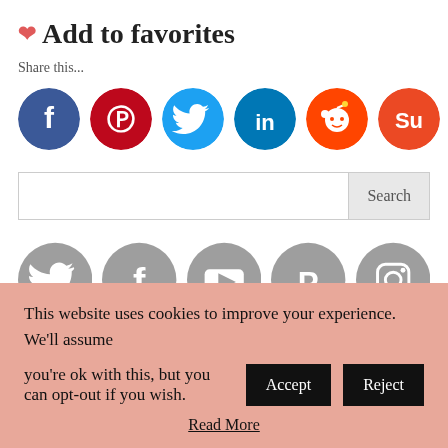❤ Add to favorites
Share this...
[Figure (illustration): Row of 7 colored social media icon circles: Facebook (dark blue), Pinterest (red), Twitter (light blue), LinkedIn (dark teal), Reddit (red), StumbleUpon (orange-red), Tumblr (dark navy)]
[Figure (illustration): Search bar with text input and 'Search' button]
[Figure (illustration): Row of 5 gray social media icon circles: Twitter, Facebook, YouTube, Pinterest, Instagram. Below: 2 more partial gray circles (SoundCloud, another)]
This website uses cookies to improve your experience. We'll assume you're ok with this, but you can opt-out if you wish.
Accept  Reject
Read More